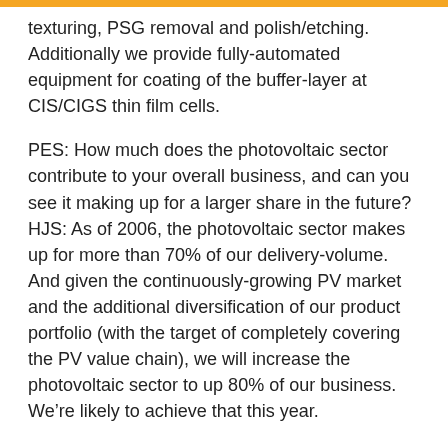texturing, PSG removal and polish/etching. Additionally we provide fully-automated equipment for coating of the buffer-layer at CIS/CIGS thin film cells.
PES: How much does the photovoltaic sector contribute to your overall business, and can you see it making up for a larger share in the future? HJS: As of 2006, the photovoltaic sector makes up for more than 70% of our delivery-volume. And given the continuously-growing PV market and the additional diversification of our product portfolio (with the target of completely covering the PV value chain), we will increase the photovoltaic sector to up 80% of our business. We’re likely to achieve that this year.
PES: Can you outline a few of the benefits of your wet process systems?